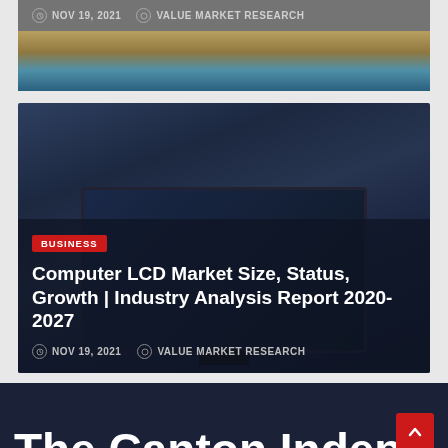NOV 19, 2021  VALUE MARKET RESEARCH
[Figure (screenshot): Dark-themed article card with a monitor/computer LCD display image. Contains a BUSINESS tag badge, article title, and metadata.]
BUSINESS
Computer LCD Market Size, Status, Growth | Industry Analysis Report 2020-2027
NOV 19, 2021  VALUE MARKET RESEARCH
The Canton Independent